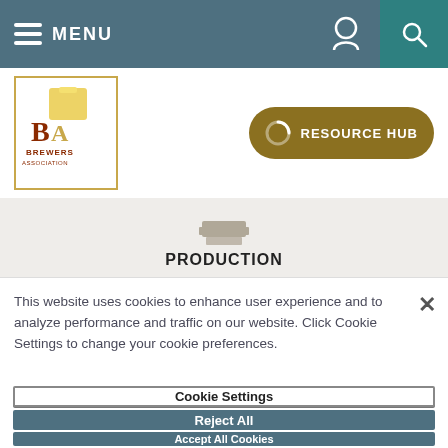MENU
[Figure (logo): Brewers Association logo — BA letters with beer mug graphic, gold border]
[Figure (other): Resource Hub button with spinner/loading icon]
[Figure (other): PRODUCTION section banner with keg icon]
This website uses cookies to enhance user experience and to analyze performance and traffic on our website. Click Cookie Settings to change your cookie preferences.
Cookie Settings
Reject All
Accept All Cookies